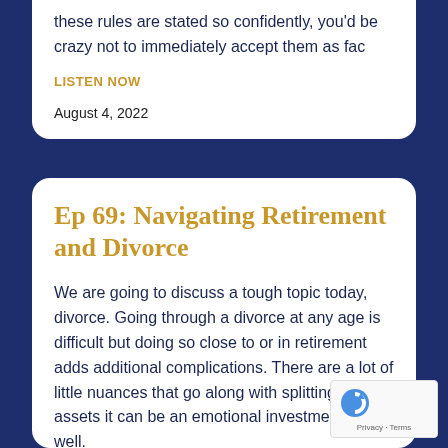these rules are stated so confidently, you'd be crazy not to immediately accept them as fac
LISTEN NOW
August 4, 2022
Ep 69: Navigating Retirement and Divorce
We are going to discuss a tough topic today, divorce. Going through a divorce at any age is difficult but doing so close to or in retirement adds additional complications. There are a lot of little nuances that go along with splitting your assets it can be an emotional investment as well.